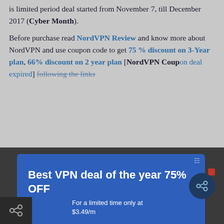is limited period deal started from November 7, till December 2017 (Cyber Month). Before purchase read NordVPN Review and know more about NordVPN and use coupon code to get 75 % discount on 3-Year plan, 66% discount on 2 year plan [NordVPN Coupon deal expired] following the links
[Figure (infographic): Blue promotional modal box: 'Best VPN deal of the year 75% OFF For a limited time only at $3.49/m' with yellow 'GRAB THIS AWESOME DEAL' button]